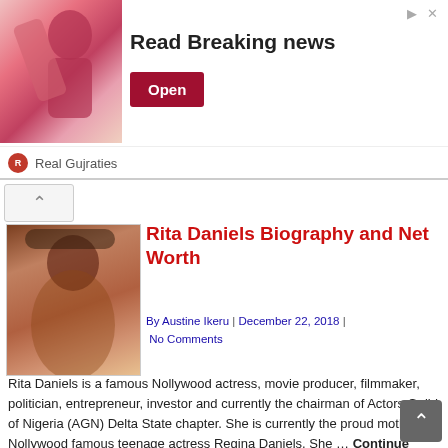[Figure (screenshot): Advertisement banner: image of a man on left, 'Read Breaking news' text in center, red 'Open' button on right. 'Real Gujraties' branding below with red circle icon.]
[Figure (photo): Thumbnail photo of Rita Daniels — a woman with long curly black hair wearing a colorful outfit and hoop earrings, against a colorful background.]
Rita Daniels Biography and Net Worth
By Austine Ikeru | December 22, 2018 | No Comments
Rita Daniels is a famous Nollywood actress, movie producer, filmmaker, politician, entrepreneur, investor and currently the chairman of Actors Guild of Nigeria (AGN) Delta State chapter. She is currently the proud mother of Nollywood famous teenage actress Regina Daniels. She … Continue Reading…......
[Figure (photo): Thumbnail photo of Ngozi Nwosu — a woman.]
Ngozi Nwosu Biography